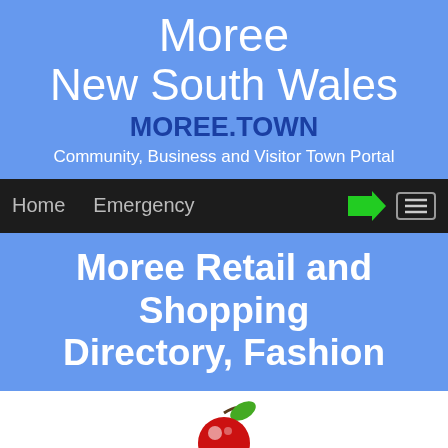Moree
New South Wales
MOREE.TOWN
Community, Business and Visitor Town Portal
Home   Emergency
Moree Retail and Shopping Directory, Fashion
[Figure (logo): Atomic Cherry logo: stylized vintage-font text 'ATOMIC CHERRY' with a red cherry (green leaf, white highlights) replacing the 'O' in ATOMIC. Black text on white background, with 'CHERRY' in white on a black banner.]